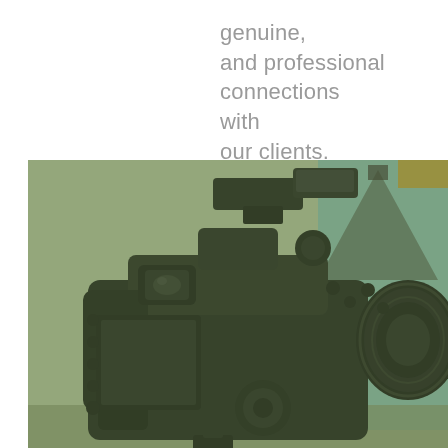genuine,
and professional connections
with
our clients.
[Figure (photo): Close-up photo of a DSLR camera with a flash attachment on top, viewed from the back/side. The camera body is dark/black. The background shows a blurred photography studio with softbox lights and a teal/cyan backdrop. The entire image has a green-olive tint overlay.]